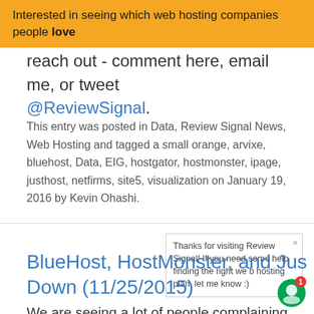Interested in seeing which web hosting companies people love
reach out - comment here, email me, or tweet @ReviewSignal.
This entry was posted in Data, Review Signal News, Web Hosting and tagged a small orange, arvixe, bluehost, Data, EIG, hostgator, hostmonster, ipage, justhost, netfirms, site5, visualization on January 19, 2016 by Kevin Ohashi.
Thanks for visiting Review Signal! If you need some help finding the right web hosting plan, let me know :)
BlueHost, HostMonster, and JustHost All Go Down (11/25/2015)
We are seeing a lot of people complaining